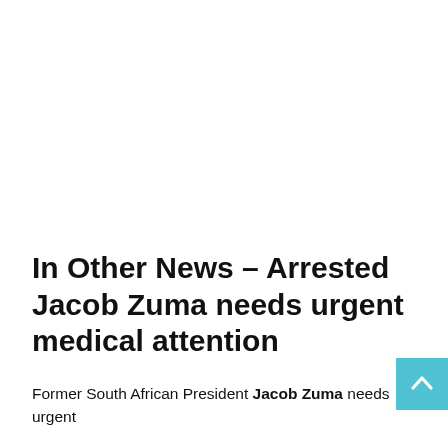In Other News – Arrested Jacob Zuma needs urgent medical attention
Former South African President Jacob Zuma needs urgent medical attention, and is said to be admitted to the